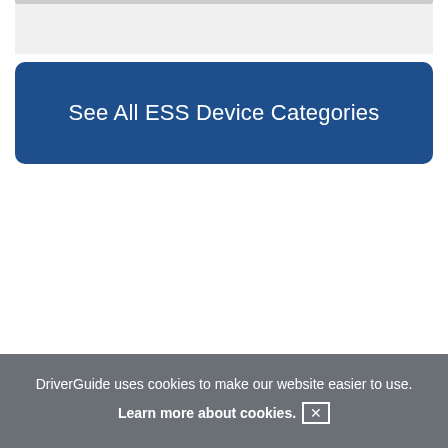See All ESS Device Categories
DriverGuide uses cookies to make our website easier to use.
Learn more about cookies.  [×]